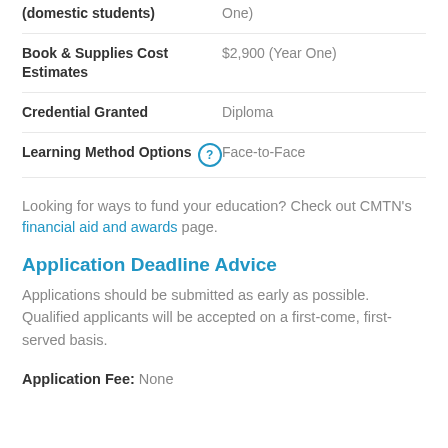| Field | Value |
| --- | --- |
| (domestic students) | One) |
| Book & Supplies Cost Estimates | $2,900 (Year One) |
| Credential Granted | Diploma |
| Learning Method Options | Face-to-Face |
Looking for ways to fund your education? Check out CMTN's financial aid and awards page.
Application Deadline Advice
Applications should be submitted as early as possible. Qualified applicants will be accepted on a first-come, first-served basis.
Application Fee: None